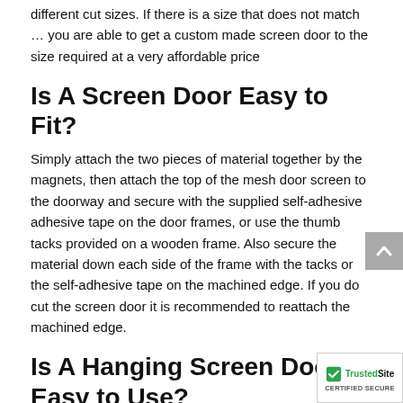different cut sizes. If there is a size that does not match … you are able to get a custom made screen door to the size required at a very affordable price
Is A Screen Door Easy to Fit?
Simply attach the two pieces of material together by the magnets, then attach the top of the mesh door screen to the doorway and secure with the supplied self-adhesive adhesive tape on the door frames, or use the thumb tacks provided on a wooden frame. Also secure the material down each side of the frame with the tacks or the self-adhesive tape on the machined edge. If you do cut the screen door it is recommended to reattach the machined edge.
Is A Hanging Screen Door Easy to Use?